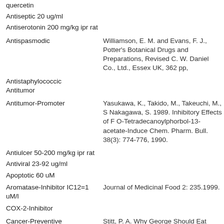quercetin
Antiseptic 20 ug/ml
Antiserotonin 200 mg/kg ipr rat
Antispasmodic
Williamson, E. M. and Evans, F. J., Potter's Botanical Drugs and Preparations, Revised Ed., C. W. Daniel Co., Ltd., Essex UK, 362 pp, 1988.
Antistaphylococcic
Antitumor
Antitumor-Promoter
Yasukawa, K., Takido, M., Takeuchi, M., Sato, K., Nitta, K., and Nakagawa, S. 1989. Inhibitory Effects of Flavonoids on 12-O-Tetradecanoylphorbol-13-acetate-Induced Tumor Promotion. Chem. Pharm. Bull. 38(3): 774-776, 1990.
Antiulcer 50-200 mg/kg ipr rat
Antiviral 23-92 ug/ml
Apoptotic 60 uM
Aromatase-Inhibitor IC12=1 uM/l
Journal of Medicinal Food 2: 235.1999.
COX-2-Inhibitor
Cancer-Preventive
Stitt, P. A. Why George Should Eat Broccoli. Dougherty Co, Milwaukee, WI, 1990, 399 pp.
Hutchings, A., Scott, AH, Lewis, G., and Cunningham, A.